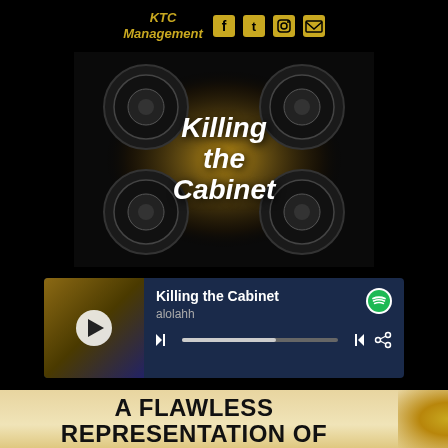KTC Management
[Figure (illustration): Killing the Cabinet band/album promo image with speakers and gold glitter background, italic bold text reading 'Killing the Cabinet']
[Figure (screenshot): Spotify player embed showing 'Killing the Cabinet' by alolahh with play controls and progress bar]
A FLAWLESS REPRESENTATION OF MUSIC: SIA'S "CHANDELIER" (MUSIC